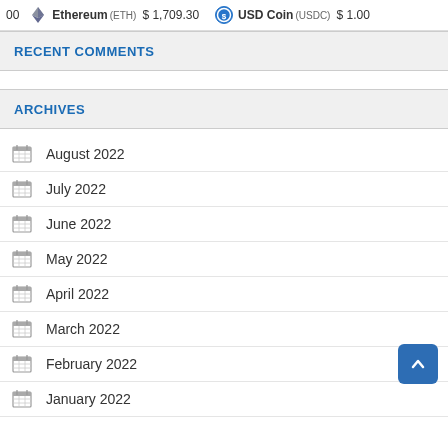00   Ethereum (ETH) $1,709.30   USD Coin (USDC) $1.00
RECENT COMMENTS
ARCHIVES
August 2022
July 2022
June 2022
May 2022
April 2022
March 2022
February 2022
January 2022